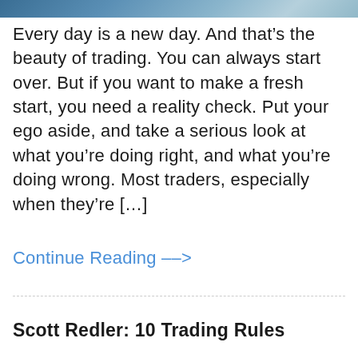[Figure (photo): Partial view of a photo at the top of the page, showing blue tones, likely a sky or water background]
Every day is a new day. And that's the beauty of trading. You can always start over. But if you want to make a fresh start, you need a reality check. Put your ego aside, and take a serious look at what you're doing right, and what you're doing wrong. Most traders, especially when they're [...]
Continue Reading -->
Scott Redler: 10 Trading Rules